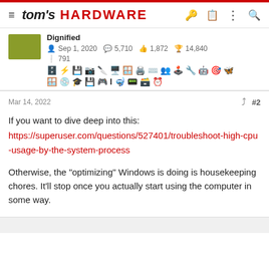tom's HARDWARE
Dignified
Sep 1, 2020  5,710  1,872  14,840
791
Mar 14, 2022  #2
If you want to dive deep into this:
https://superuser.com/questions/527401/troubleshoot-high-cpu-usage-by-the-system-process

Otherwise, the "optimizing" Windows is doing is housekeeping chores. It'll stop once you actually start using the computer in some way.